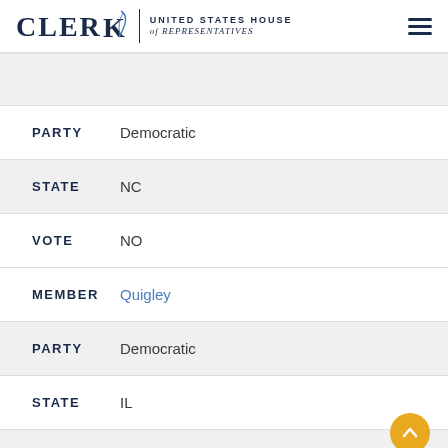CLERK UNITED STATES HOUSE of REPRESENTATIVES
PARTY Democratic
STATE NC
VOTE NO
MEMBER Quigley
PARTY Democratic
STATE IL
VOTE NO